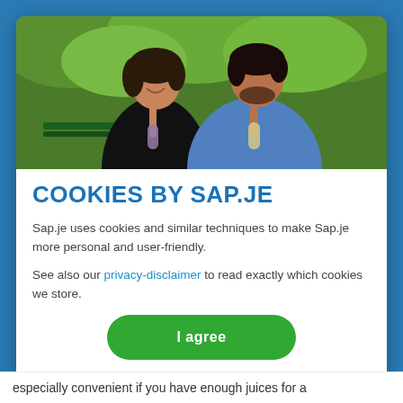[Figure (photo): Two people (a woman in a black shirt and a man in a blue sweater) sitting outdoors on a park bench, smiling at each other and holding glass bottles with drinks, green foliage in background.]
COOKIES BY SAP.JE
Sap.je uses cookies and similar techniques to make Sap.je more personal and user-friendly.
See also our privacy-disclaimer to read exactly which cookies we store.
I agree
especially convenient if you have enough juices for a